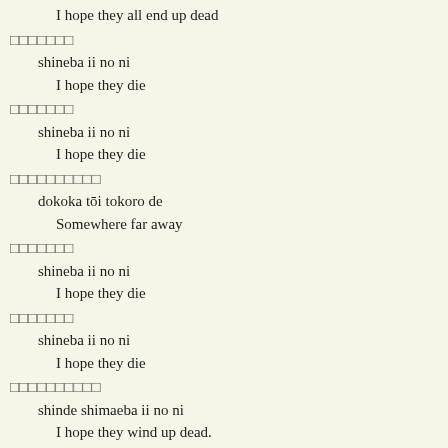I hope they all end up dead
□□□□□□□
    shineba ii no ni
        I hope they die
□□□□□□□
    shineba ii no ni
        I hope they die
□□□□□□□□□□
    dokoka tōi tokoro de
        Somewhere far away
□□□□□□□
    shineba ii no ni
        I hope they die
□□□□□□□
    shineba ii no ni
        I hope they die
□□□□□□□□□□
    shinde shimaeba ii no ni
        I hope they wind up dead.
□□□□□□□
    shineba ii no ni
        I hope they die